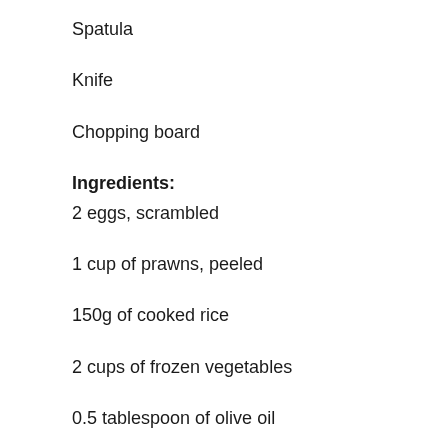Spatula
Knife
Chopping board
Ingredients:
2 eggs, scrambled
1 cup of prawns, peeled
150g of cooked rice
2 cups of frozen vegetables
0.5 tablespoon of olive oil